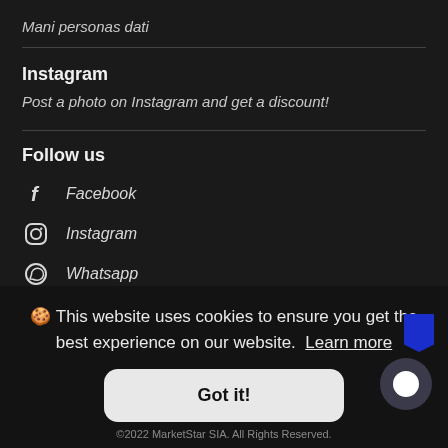Mani personas dati
Instagram
Post a photo on Instagram and get a discount!
Follow us
Facebook
Instagram
Whatsapp
🍪 This website uses cookies to ensure you get the best experience on our website. Learn more
Got it!
©2022 MarketStar SIA. All Rights Reserved.